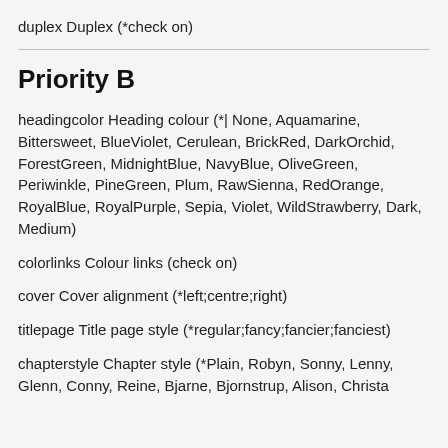duplex Duplex (*check on)
Priority B
headingcolor Heading colour (*| None, Aquamarine, Bittersweet, BlueViolet, Cerulean, BrickRed, DarkOrchid, ForestGreen, MidnightBlue, NavyBlue, OliveGreen, Periwinkle, PineGreen, Plum, RawSienna, RedOrange, RoyalBlue, RoyalPurple, Sepia, Violet, WildStrawberry, Dark, Medium)
colorlinks Colour links (check on)
cover Cover alignment (*left;centre;right)
titlepage Title page style (*regular;fancy;fancier;fanciest)
chapterstyle Chapter style (*Plain, Robyn, Sonny, Lenny, Glenn, Conny, Reine, Bjarne, Bjornstrup, Alison, Christa